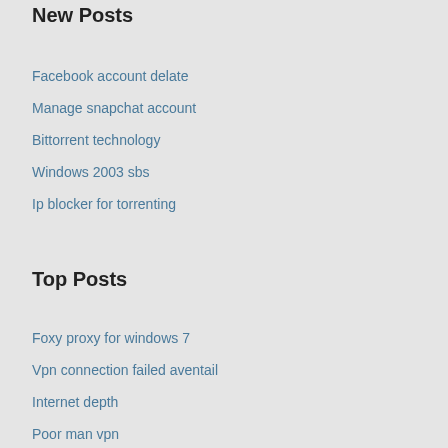New Posts
Facebook account delate
Manage snapchat account
Bittorrent technology
Windows 2003 sbs
Ip blocker for torrenting
Top Posts
Foxy proxy for windows 7
Vpn connection failed aventail
Internet depth
Poor man vpn